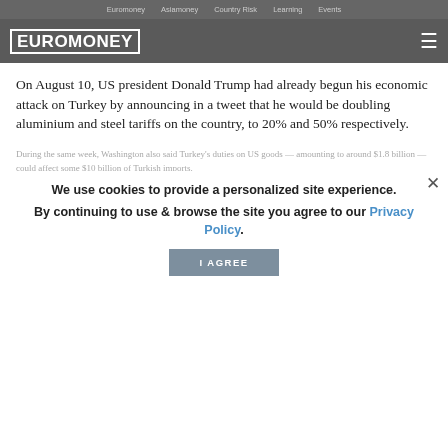Euromoney   Asiamoney   Country Risk   Learning   Events
[Figure (logo): Euromoney logo with hamburger menu on dark grey background]
On August 10, US president Donald Trump had already begun his economic attack on Turkey by announcing in a tweet that he would be doubling aluminium and steel tariffs on the country, to 20% and 50% respectively.
During the same week, Washington also said Turkey's duties on US goods — amounting to around $1.8 billion — could affect some $10 billion of Turkish imports.
These announcements sent the lira over the edge, but underlying economic mismanagement putting pressure on investor confidence had been building for some time.
We use cookies to provide a personalized site experience.
By continuing to use & browse the site you agree to our Privacy Policy.